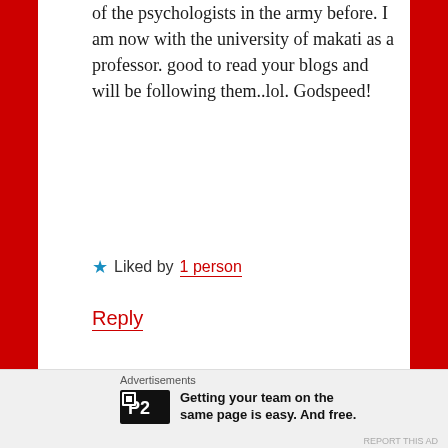of the psychologists in the army before. I am now with the university of makati as a professor. good to read your blogs and will be following them..lol. Godspeed!
★ Liked by 1 person
Reply
berne mendoza-santos says:
November 17, 2013 at 2:05 am
hi cha, hazel wants to know how to join in and
Advertisements
Getting your team on the same page is easy. And free.